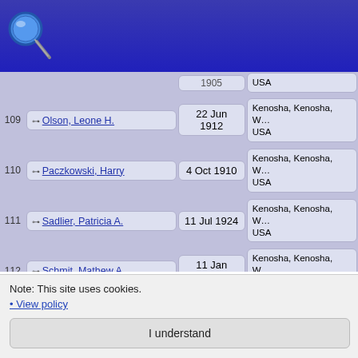[Figure (screenshot): Blue header bar with magnifying glass search icon]
| # | Name | Date | Place |
| --- | --- | --- | --- |
|  |  | 1905 | USA |
| 109 | Olson, Leone H. | 22 Jun 1912 | Kenosha, Kenosha, W… USA |
| 110 | Paczkowski, Harry | 4 Oct 1910 | Kenosha, Kenosha, W… USA |
| 111 | Sadlier, Patricia A. | 11 Jul 1924 | Kenosha, Kenosha, W… USA |
| 112 | Schmit, Mathew A. | 11 Jan 1860 | Kenosha, Kenosha, W… USA |
| 113 | Sebetic, Barbara | 4 Dec 1911 | Kenosha, Kenosha, W… USA |
| 114 | Sebetic, Nikolas | 10 Sep 1915 | Kenosha, Kenosha, W… USA |
| 115 | Sharfinski, Debra Lee |  |  |
| 116 | Sharfinski, Donna Lee |  |  |
Note: This site uses cookies.
• View policy
I understand